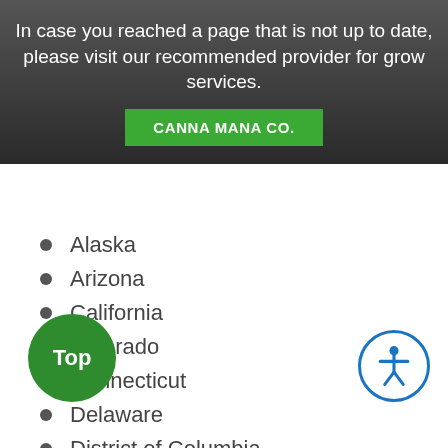In case you reached a page that is not up to date, please visit our recommended provider for grow services.
CANNA MANA CO.
Alaska
Arizona
California
Colorado
Connecticut
Delaware
District of Columbia
Florida
Hawaii
Maine
Maryland
Michigan